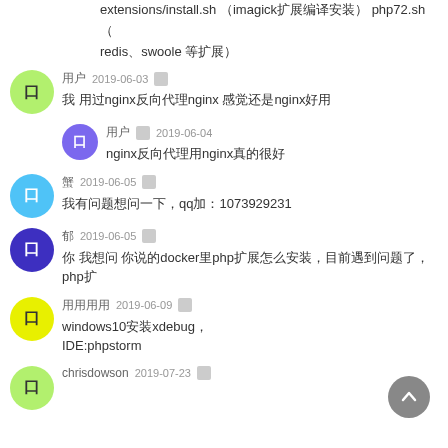extensions/install.sh （imagick扩展编译安装） php72.sh （redis、swoole 等扩展）
用户 2019-06-03 — 我 用过nginx反向代理nginx 感觉还是nginx好用
用户 2019-06-04 — nginx反向代理用nginx真的很好
用户 2019-06-05 — 我有问题想问一下，qq加：1073929231
用户 2019-06-05 — 你 我想问 你说的docker里php扩展怎么安装，目前遇到问题了，php扩展
用户 2019-06-09 — windows10安装xdebug，IDE:phpstorm
chrisdowson 2019-07-23